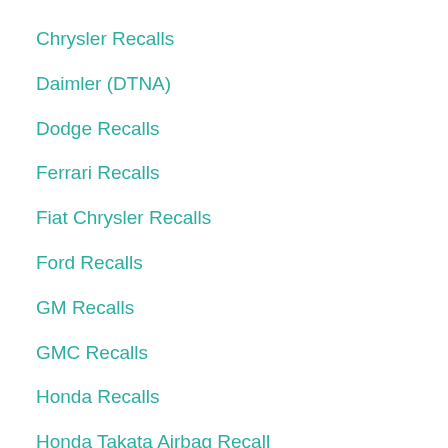Chrysler Recalls
Daimler (DTNA)
Dodge Recalls
Ferrari Recalls
Fiat Chrysler Recalls
Ford Recalls
GM Recalls
GMC Recalls
Honda Recalls
Honda Takata Airbag Recall
Hummer Recalls